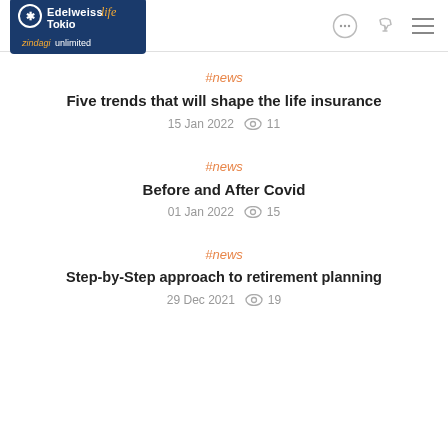Edelweiss Tokio Life - zindagi unlimited
#news
Five trends that will shape the life insurance
15 Jan 2022   👁 11
#news
Before and After Covid
01 Jan 2022   👁 15
#news
Step-by-Step approach to retirement planning
29 Dec 2021   👁 19